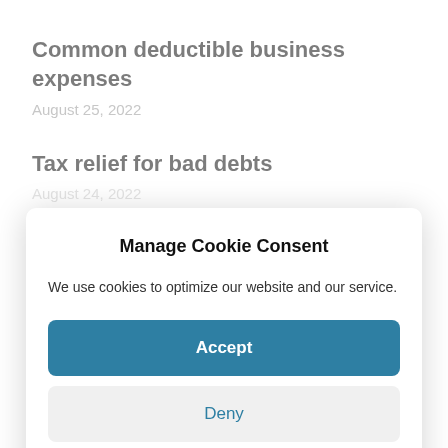Common deductible business expenses
August 25, 2022
Tax relief for bad debts
August 24, 2022
Manage Cookie Consent
We use cookies to optimize our website and our service.
Accept
Deny
Preferences